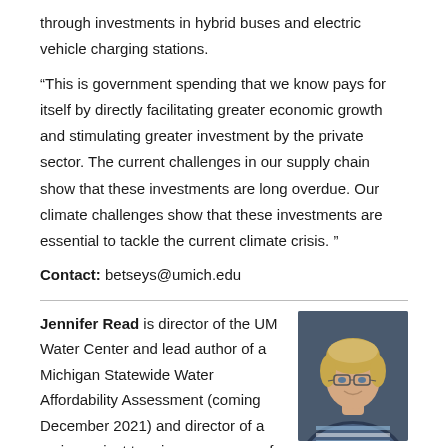through investments in hybrid buses and electric vehicle charging stations.
“This is government spending that we know pays for itself by directly facilitating greater economic growth and stimulating greater investment by the private sector. The current challenges in our supply chain show that these investments are long overdue. Our climate challenges show that these investments are essential to tackle the current climate crisis. ”
Contact: betseys@umich.edu
Jennifer Read is director of the UM Water Center and lead author of a Michigan Statewide Water Affordability Assessment (coming December 2021) and director of a major project to raise awareness of the public
[Figure (photo): Headshot photo of Jennifer Read, a woman with short blonde hair and glasses, wearing a striped top, against a dark background.]
Jennifer Read